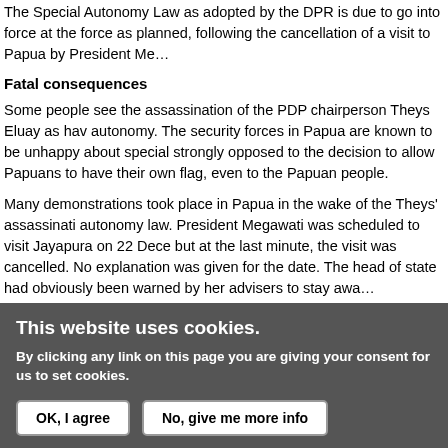The Special Autonomy Law as adopted by the DPR is due to go into force at the force as planned, following the cancellation of a visit to Papua by President Me...
Fatal consequences
Some people see the assassination of the PDP chairperson Theys Eluay as having autonomy. The security forces in Papua are known to be unhappy about special strongly opposed to the decision to allow Papuans to have their own flag, even to the Papuan people.
Many demonstrations took place in Papua in the wake of the Theys' assassination autonomy law. President Megawati was scheduled to visit Jayapura on 22 December but at the last minute, the visit was cancelled. No explanation was given for the date. The head of state had obviously been warned by her advisers to stay away...
Sharia law for Aceh
At the commencement of the new year, it was announced that under the special introduced. According to reports from Jakarta, the central government hoped that was also said that this was the first time 'in overwhelmingly Muslim Indonesia that January 2002]
However, there was little enthusiasm in Aceh for this gesture. Yusuf Ismail Pase Acehnese have been Muslims for generations. They have no need for Sharia.'
This website uses cookies.
By clicking any link on this page you are giving your consent for us to set cookies.
OK, I agree   No, give me more info